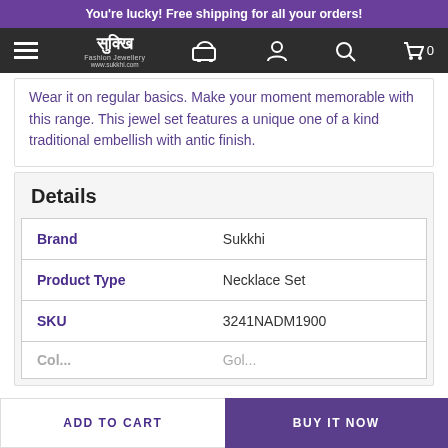You're lucky! Free shipping for all your orders!
[Figure (screenshot): Navigation bar with hamburger menu, Sukkhi logo, truck icon, user icon, search icon, and cart icon with 0 items]
Wear it on regular basics. Make your moment memorable with this range. This jewel set features a unique one of a kind traditional embellish with antic finish.
Details
|  |  |
| --- | --- |
| Brand | Sukkhi |
| Product Type | Necklace Set |
| SKU | 3241NADM1900 |
| Col... | Gol... |